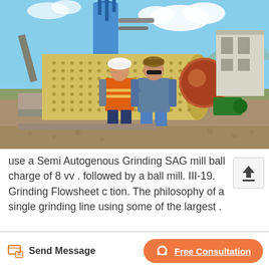[Figure (photo): Two workers standing in front of a large yellow SAG (Semi Autogenous Grinding) mill at an industrial mining or cement plant site. One person wears an orange safety vest and white hard hat. The other wears a blue/grey shirt and sunglasses with a knit cap. Behind them is a large blue silo tower, white industrial structure, and green pump equipment.]
use a Semi Autogenous Grinding SAG mill ball charge of 8 vv . followed by a ball mill. III-19. Grinding Flowsheet c tion. The philosophy of a single grinding line using some of the largest .
Send Message | Free Consultation